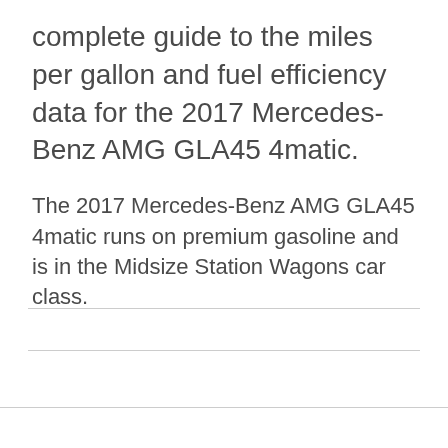complete guide to the miles per gallon and fuel efficiency data for the 2017 Mercedes-Benz AMG GLA45 4matic.
The 2017 Mercedes-Benz AMG GLA45 4matic runs on premium gasoline and is in the Midsize Station Wagons car class.